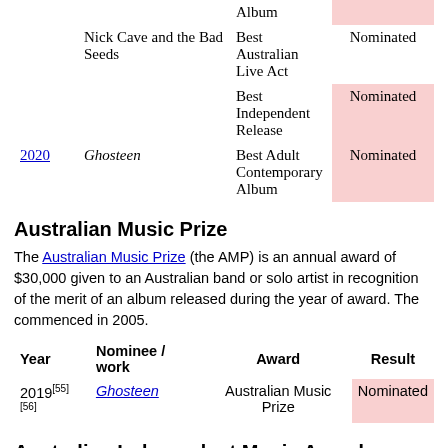| Year | Nominee / work | Award | Result |
| --- | --- | --- | --- |
| 2019 | Nick Cave and the Bad Seeds | Best Australian Live Act | Nominated |
|  |  | Best Independent Release | Nominated |
| 2020 | Ghosteen | Best Adult Contemporary Album | Nominated |
Australian Music Prize
The Australian Music Prize (the AMP) is an annual award of $30,000 given to an Australian band or solo artist in recognition of the merit of an album released during the year of award. The commenced in 2005.
| Year | Nominee / work | Award | Result |
| --- | --- | --- | --- |
| 2019[55][56] | Ghosteen | Australian Music Prize | Nominated |
Australian Independent Music Award
| Year | Nominee / work | Award | Result |
| --- | --- | --- | --- |